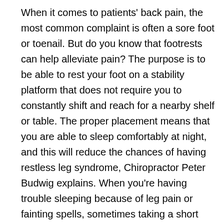When it comes to patients' back pain, the most common complaint is often a sore foot or toenail. But do you know that footrests can help alleviate pain? The purpose is to be able to rest your foot on a stability platform that does not require you to constantly shift and reach for a nearby shelf or table. The proper placement means that you are able to sleep comfortably at night, and this will reduce the chances of having restless leg syndrome, Chiropractor Peter Budwig explains. When you're having trouble sleeping because of leg pain or fainting spells, sometimes taking a short rest at night by placing a footrest between your knees and ankles can help you fall asleep more easily. A strong support structure like this is essential when dealing with back pain issues.
He recommends getting a footrest that is at least one